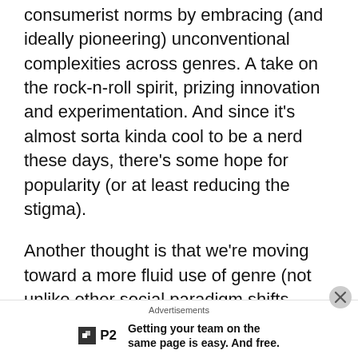consumerist norms by embracing (and ideally pioneering) unconventional complexities across genres. A take on the rock-n-roll spirit, prizing innovation and experimentation. And since it's almost sorta kinda cool to be a nerd these days, there's some hope for popularity (or at least reducing the stigma).
Another thought is that we're moving toward a more fluid use of genre (not unlike other social paradigm shifts happening right now), which contextualizes how musicians identify. "Progressive" is increasingly likely to be applied as part of a set of descriptors than an identity.
Advertisements
[Figure (logo): P2 logo – dark square with white icon and 'P2' text beside it]
Getting your team on the same page is easy. And free.